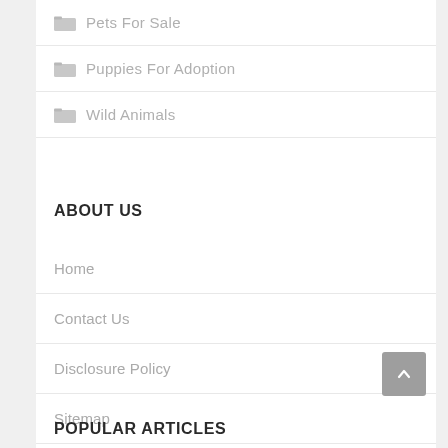Pets For Sale
Puppies For Adoption
Wild Animals
ABOUT US
Home
Contact Us
Disclosure Policy
Sitemap
POPULAR ARTICLES